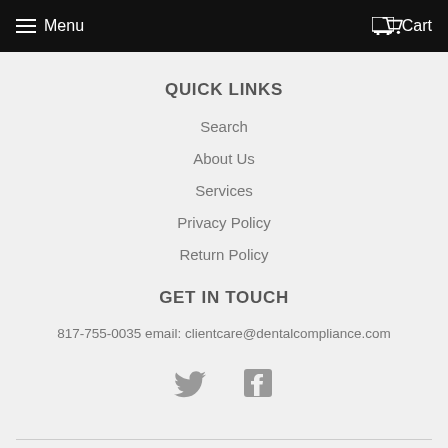Menu  Cart
QUICK LINKS
Search
About Us
Services
Privacy Policy
Return Policy
GET IN TOUCH
817-755-0035 email: clientcare@dentalcompliance.com
[Figure (illustration): Twitter and Facebook social media icons in gray]